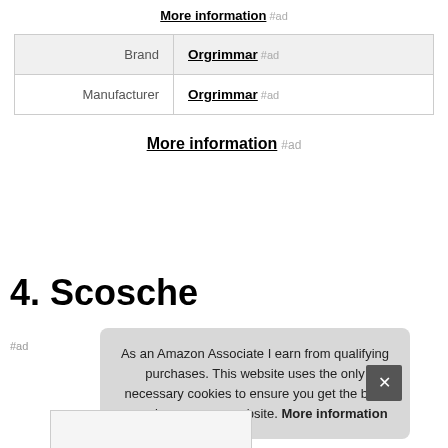More information #ad
|  |  |
| --- | --- |
| Brand | Orgrimmar #ad |
| Manufacturer | Orgrimmar #ad |
More information #ad
4. Scosche
#ad
As an Amazon Associate I earn from qualifying purchases. This website uses the only necessary cookies to ensure you get the best experience on our website. More information